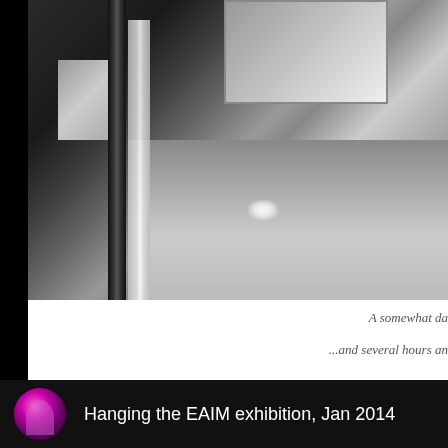[Figure (photo): Interior installation view showing metallic vertical bars, acrylic panels, and reflective floor surface. Dark industrial exhibition space with structural elements and a bright highlight on the polished floor.]
A somewhat da...and several hours an
Hanging the EAIM exhibition, Jan 2014